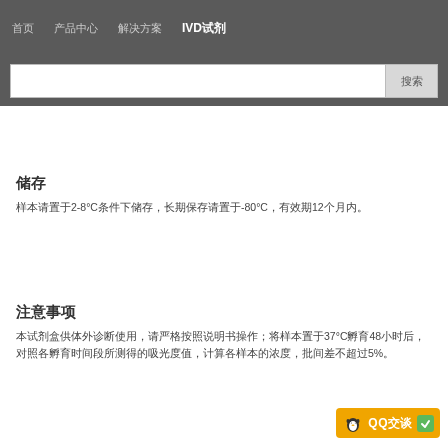首页  产品中心  解决方案  IVD试剂
搜索
储存
样本请置于2-8°C条件下储存，长期保存请置于-80°C，有效期12个月内。
注意事项
本试剂盒供体外诊断使用，请严格按照说明书操作；将样本置于37°C孵育48小时后，对照各孵育时间段所测得的吸光度值，计算各样本的浓度，批间差不超过5%。